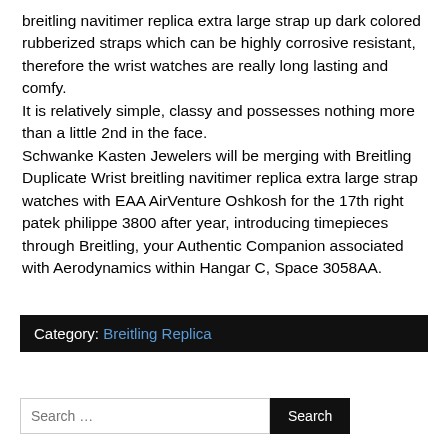breitling navitimer replica extra large strap up dark colored rubberized straps which can be highly corrosive resistant, therefore the wrist watches are really long lasting and comfy. It is relatively simple, classy and possesses nothing more than a little 2nd in the face. Schwanke Kasten Jewelers will be merging with Breitling Duplicate Wrist breitling navitimer replica extra large strap watches with EAA AirVenture Oshkosh for the 17th right patek philippe 3800 after year, introducing timepieces through Breitling, your Authentic Companion associated with Aerodynamics within Hangar C, Space 3058AA.
Category: Breitling Replica
Search ...